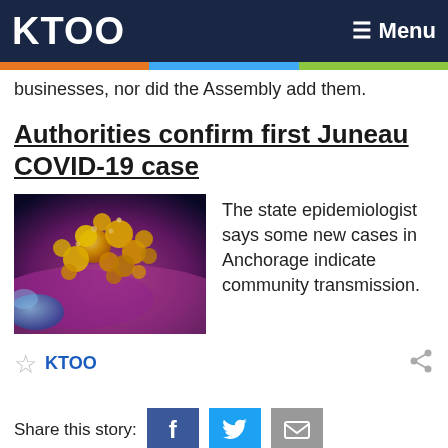KTOO   ≡ Menu
businesses, nor did the Assembly add them.
Authorities confirm first Juneau COVID-19 case
[Figure (photo): Close-up microscope image of coronavirus particles (yellow/orange spheres) on a purple/magenta surface]
The state epidemiologist says some new cases in Anchorage indicate community transmission.
KTOO
Share this story: